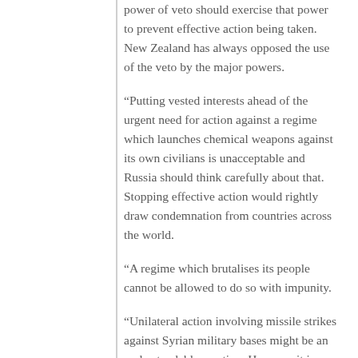power of veto should exercise that power to prevent effective action being taken. New Zealand has always opposed the use of the veto by the major powers.
“Putting vested interests ahead of the urgent need for action against a regime which launches chemical weapons against its own civilians is unacceptable and Russia should think carefully about that. Stopping effective action would rightly draw condemnation from countries across the world.
“A regime which brutalises its people cannot be allowed to do so with impunity.
“Unilateral action involving missile strikes against Syrian military bases might be an understandable reaction. However it is a poor substitute for effective multilateral action to isolate the Assad regime, and implement steps to supervise its replacement and hold it to account for crimes against humanity.
“Quick military fixes do not automatically result